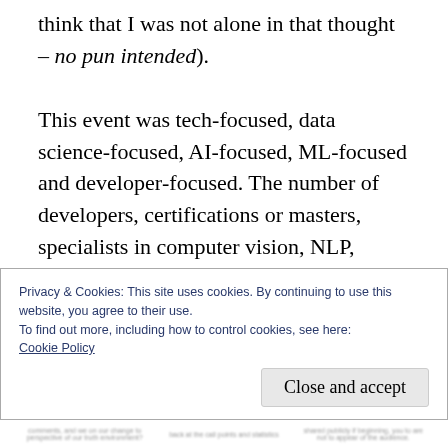think that I was not alone in that thought – no pun intended).

This event was tech-focused, data science-focused, AI-focused, ML-focused and developer-focused. The number of developers, certifications or masters, specialists in computer vision, NLP, different AI models, different languages, packages, frameworks was astounding. And as such, there was something for everyone in the three main challenges for
Privacy & Cookies: This site uses cookies. By continuing to use this website, you agree to their use.
To find out more, including how to control cookies, see here:
Cookie Policy

Close and accept
[blurred footer text]